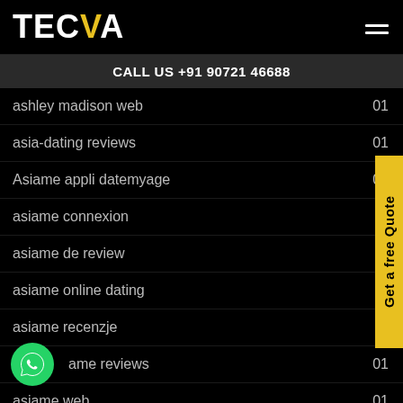TECVA
CALL US +91 90721 46688
ashley madison web  01
asia-dating reviews  01
Asiame appli datemyage  01
asiame connexion
asiame de review
asiame online dating
asiame recenzje
asiame reviews  01
asiame web  01
asian dating  01